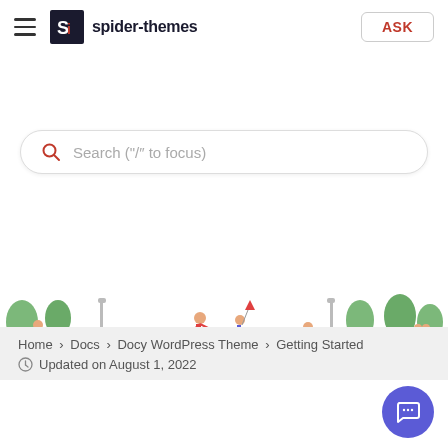spider-themes | ASK
Search ("/" to focus)
[Figure (illustration): Illustrated park scene with people walking, playing, and trees in the background]
Home › Docs › Docy WordPress Theme › Getting Started
Updated on August 1, 2022